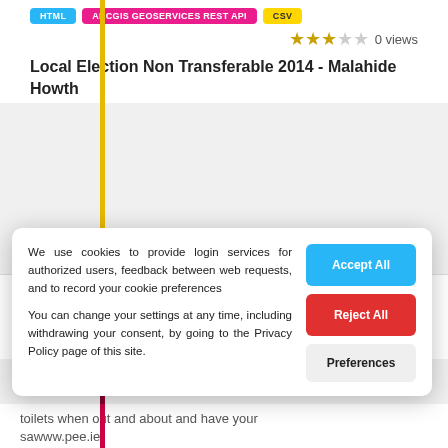HTML  ARCGIS GEOSERVICES REST API  CSV
0 views
Local Election Non Transferable 2014 - Malahide Howth
Public Toilets Managed by FCC
We use cookies to provide login services for authorized users, feedback between web requests, and to record your cookie preferences

You can change your settings at any time, including withdrawing your consent, by going to the Privacy Policy page of this site.
Accept All
Reject All
Preferences
toilets when out and about and have your sawww.pee.ie